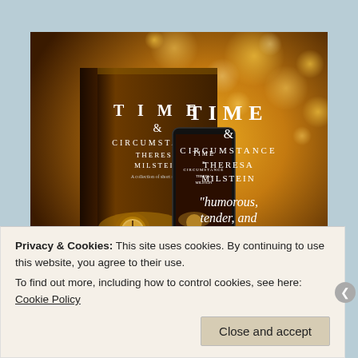[Figure (illustration): Promotional image for the book 'Time & Circumstance' by Theresa Milstein. Shows a physical book and a smartphone displaying the book cover, against a warm golden bokeh background. Text on right side reads 'TIME & CIRCUMSTANCE THERESA MILSTEIN' and a quote 'humorous, tender, and powerful']
Privacy & Cookies: This site uses cookies. By continuing to use this website, you agree to their use.
To find out more, including how to control cookies, see here: Cookie Policy
Close and accept